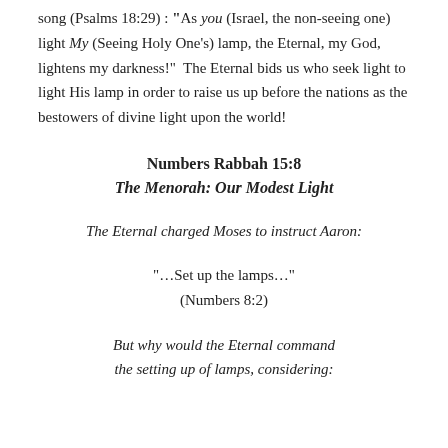song (Psalms 18:29) : “As you (Israel, the non-seeing one) light My (Seeing Holy One’s) lamp, the Eternal, my God, lightens my darkness!”  The Eternal bids us who seek light to light His lamp in order to raise us up before the nations as the bestowers of divine light upon the world!
Numbers Rabbah 15:8
The Menorah: Our Modest Light
The Eternal charged Moses to instruct Aaron:
“…Set up the lamps…”
(Numbers 8:2)
But why would the Eternal command the setting up of lamps, considering: